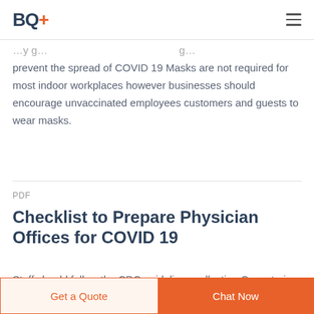BQ+
prevent the spread of COVID 19 Masks are not required for most indoor workplaces however businesses should encourage unvaccinated employees customers and guests to wear masks.
PDF
Checklist to Prepare Physician Offices for COVID 19
Staff should follow the CDC guidelines collecting Cross train staff for all essential office and medical Alcohol based
Get a Quote  Chat Now